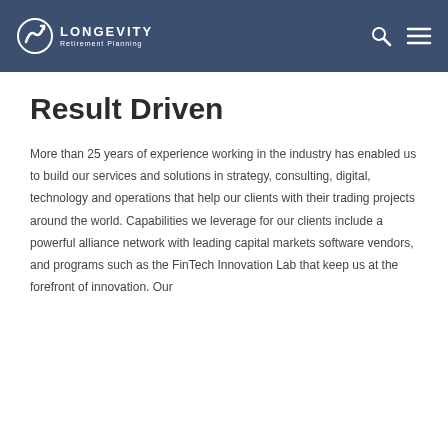LONGEVITY Retirement Planning
Result Driven
More than 25 years of experience working in the industry has enabled us to build our services and solutions in strategy, consulting, digital, technology and operations that help our clients with their trading projects around the world. Capabilities we leverage for our clients include a powerful alliance network with leading capital markets software vendors, and programs such as the FinTech Innovation Lab that keep us at the forefront of innovation. Our